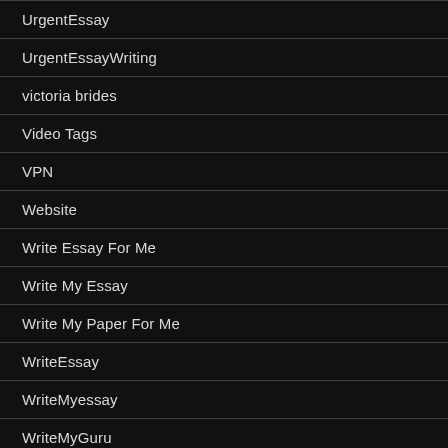UrgentEssay
UrgentEssayWriting
victoria brides
Video Tags
VPN
Website
Write Essay For Me
Write My Essay
Write My Paper For Me
WriteEssay
WriteMyessay
WriteMyGuru